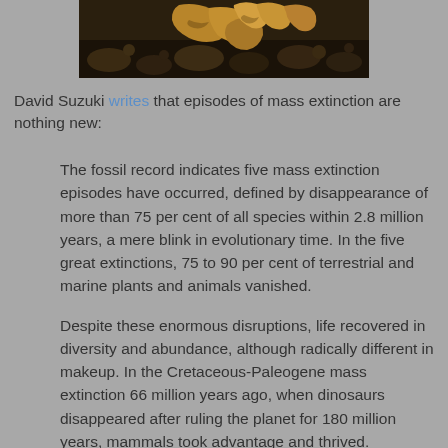[Figure (photo): Close-up photograph of fossil bones or claws partially buried in dark soil/sediment, viewed from above with warm amber/golden lighting]
David Suzuki writes that episodes of mass extinction are nothing new:
The fossil record indicates five mass extinction episodes have occurred, defined by disappearance of more than 75 per cent of all species within 2.8 million years, a mere blink in evolutionary time. In the five great extinctions, 75 to 90 per cent of terrestrial and marine plants and animals vanished.
Despite these enormous disruptions, life recovered in diversity and abundance, although radically different in makeup. In the Cretaceous-Paleogene mass extinction 66 million years ago, when dinosaurs disappeared after ruling the planet for 180 million years, mammals took advantage and thrived.